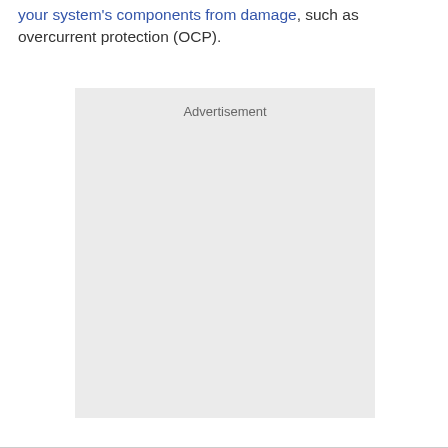your system's components from damage, such as overcurrent protection (OCP).
[Figure (other): Advertisement placeholder box with light gray background and the label 'Advertisement' centered at the top.]